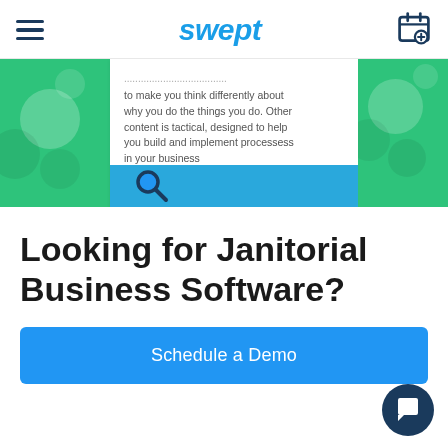swept
[Figure (screenshot): Partially visible content card showing text about making you think differently about why you do the things you do, with green illustrated panels on left and right, and a blue bar with magnifier at the bottom]
Looking for Janitorial Business Software?
Schedule a Demo